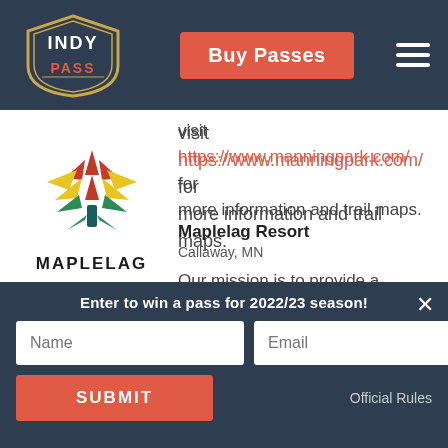Indy Pass — Buy Passes
visit https://www.manningpark.com/ for more information and trail maps.
[Figure (logo): Maplelag Resort logo: stylized maple leaf in red, yellow, and green with the wordmark MAPLELAG below]
Maplelag Resort
Callaway, MN
Our mission is to provide a healthy atmosphere in a safe and welcoming outdoor environment. Our terrain features 68 km of
Enter to win a pass for 2022/23 season!